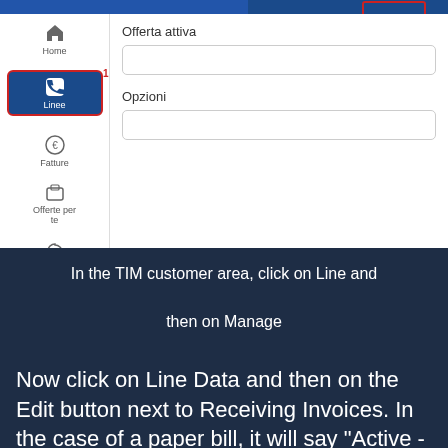[Figure (screenshot): TIM customer area app screenshot showing sidebar navigation with Home, Linee (active, highlighted in blue with red border), Fatture, Offerte per te icons, and main content area displaying 'Offerta attiva' and 'Opzioni' sections with empty input fields. A red-outlined button is visible at the top right.]
In the TIM customer area, click on Line and then on Manage
Now click on Line Data and then on the Edit button next to Receiving Invoices. In the case of a paper bill, it will say "Active - Paper" or